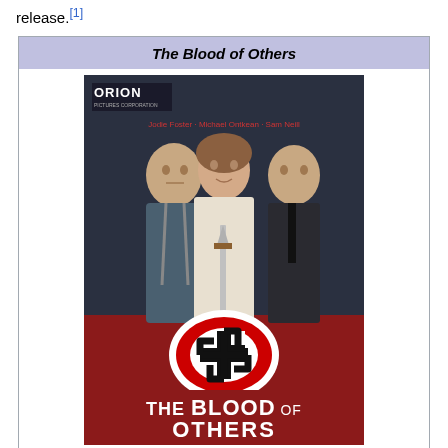release.[1]
The Blood of Others
[Figure (photo): Movie poster for 'The Blood of Others' (Orion Pictures). Features Jodie Foster, Michael Ontkean, Sam Neill. Three actors posed together over a Nazi swastika symbol with a dagger. Bottom text reads 'THE BLOOD OF OTHERS'.]